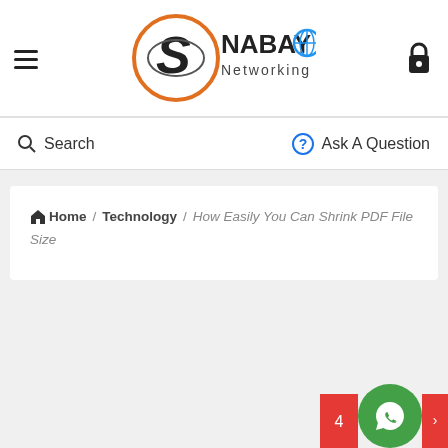Nabayo Networking - site header with logo, hamburger menu, and cart icon
Search | Ask A Question
Home / Technology / How Easily You Can Shrink PDF File Size